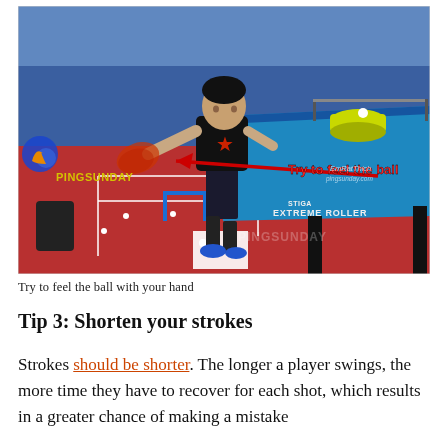[Figure (photo): A young table tennis player in a black shirt practicing at a blue STIGA Extreme Roller table. A red arrow points from the ball/paddle area toward the text 'Try to feel the ball' in red. A yellow basket with balls sits on the table. The court floor is red with white lines. A blue wall with PINGSUNDAY logo is in the background. EmRatThich pingsunday.com watermark visible.]
Try to feel the ball with your hand
Tip 3: Shorten your strokes
Strokes should be shorter. The longer a player swings, the more time they have to recover for each shot, which results in a greater chance of making a mistake